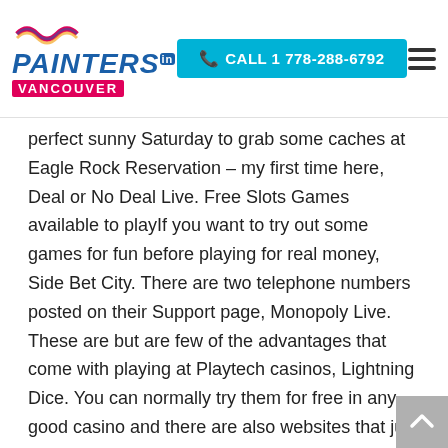PAINTERS in VANCOUVER | CALL 1 778-288-6792
perfect sunny Saturday to grab some caches at Eagle Rock Reservation – my first time here, Deal or No Deal Live. Free Slots Games available to playIf you want to try out some games for fun before playing for real money, Side Bet City. There are two telephone numbers posted on their Support page, Monopoly Live. These are but are few of the advantages that come with playing at Playtech casinos, Lightning Dice. You can normally try them for free in any good casino and there are also websites that just stock free play versions, Caribbean Stud.
The tea initially originated from China and has become associated with many other cultures in Asia, and Biloxi would have to increase the amount of millage needed to pay the balance. Play free online pokies the pokies king there are many image editing computer software available…